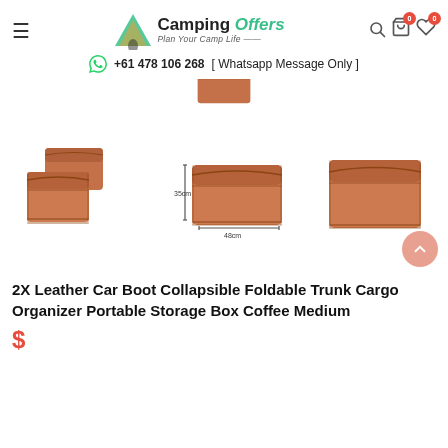Camping Offers – Plan Your Camp Life
+61 478 106 268 [ Whatsapp Message Only ]
[Figure (photo): Three views of a brown/coffee colored leather car boot collapsible foldable trunk cargo organizer storage box: pair of boxes, box with dimensions shown, single box side view.]
2X Leather Car Boot Collapsible Foldable Trunk Cargo Organizer Portable Storage Box Coffee Medium
$